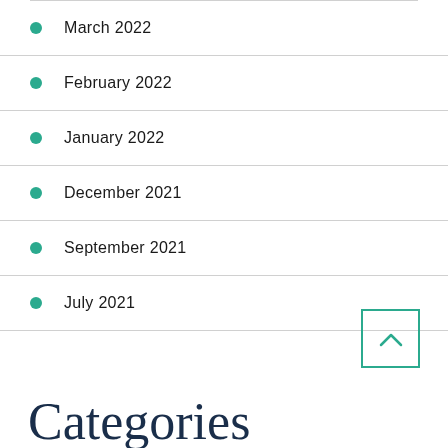March 2022
February 2022
January 2022
December 2021
September 2021
July 2021
Categories